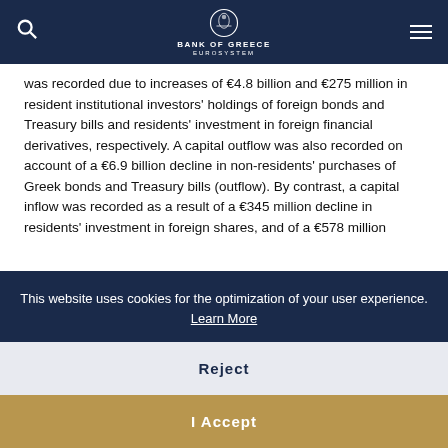Bank of Greece — Eurosystem
was recorded due to increases of €4.8 billion and €275 million in resident institutional investors' holdings of foreign bonds and Treasury bills and residents' investment in foreign financial derivatives, respectively. A capital outflow was also recorded on account of a €6.9 billion decline in non-residents' purchases of Greek bonds and Treasury bills (outflow). By contrast, a capital inflow was recorded as a result of a €345 million decline in residents' investment in foreign shares, and of a €578 million
This website uses cookies for the optimization of your user experience. Learn More
Reject
I Accept